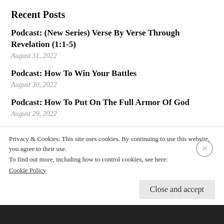Recent Posts
Podcast: (New Series) Verse By Verse Through Revelation (1:1-5)
August 31, 2022
Podcast: How To Win Your Battles
August 30, 2022
Podcast: How To Put On The Full Armor Of God
August 29, 2022
The Signs That Follow A Believer
Privacy & Cookies: This site uses cookies. By continuing to use this website, you agree to their use.
To find out more, including how to control cookies, see here:
Cookie Policy
Close and accept